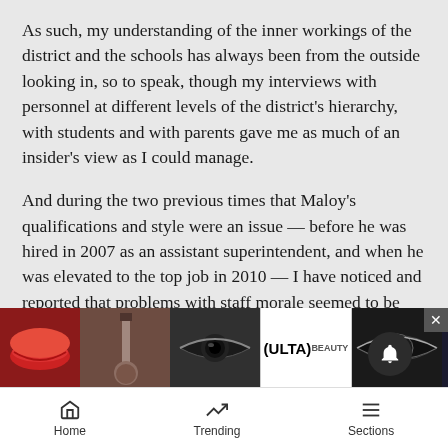As such, my understanding of the inner workings of the district and the schools has always been from the outside looking in, so to speak, though my interviews with personnel at different levels of the district's hierarchy, with students and with parents gave me as much of an insider's view as I could manage.
And during the two previous times that Maloy's qualifications and style were an issue — before he was hired in 2007 as an assistant superintendent, and when he was elevated to the top job in 2010 — I have noticed and reported that problems with staff morale seemed to be something the district needed to give some attention to.
[Figure (photo): ULTA Beauty advertisement banner showing makeup/cosmetics imagery with lips, brushes, eyes, and SHOP NOW call to action]
And w... up on... hift
Home   Trending   Sections